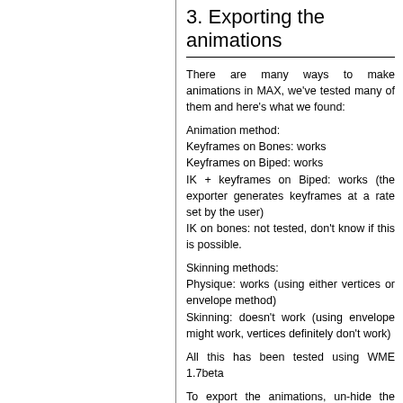3. Exporting the animations
There are many ways to make animations in MAX, we've tested many of them and here's what we found:
Animation method:
Keyframes on Bones: works
Keyframes on Biped: works
IK + keyframes on Biped: works (the exporter generates keyframes at a rate set by the user)
IK on bones: not tested, don't know if this is possible.
Skinning methods:
Physique: works (using either vertices or envelope method)
Skinning: doesn't work (using envelope might work, vertices definitely don't work)
All this has been tested using WME 1.7beta
To export the animations, un-hide the bones or biped then hide the model and use the following exported settings.
Remember to un-check it and re-check "Left Handed Axis".